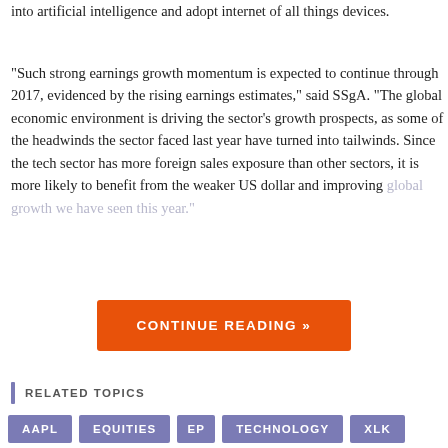into artificial intelligence and adopt internet of all things devices.
“Such strong earnings growth momentum is expected to continue through 2017, evidenced by the rising earnings estimates,” said SSgA. “The global economic environment is driving the sector’s growth prospects, as some of the headwinds the sector faced last year have turned into tailwinds. Since the tech sector has more foreign sales exposure than other sectors, it is more likely to benefit from the weaker US dollar and improving global growth we have seen this year.”
CONTINUE READING »
RELATED TOPICS
AAPL  EQUITIES  EP  TECHNOLOGY  XLK